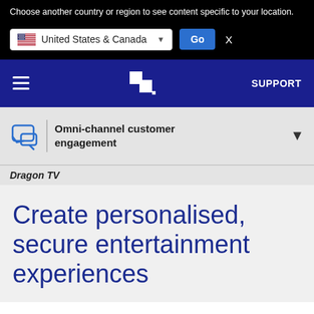Choose another country or region to see content specific to your location.
[Figure (screenshot): Country selector with United States & Canada dropdown and Go button]
SUPPORT
Omni-channel customer engagement
Dragon TV
Create personalised, secure entertainment experiences